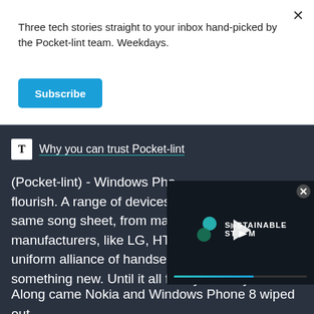Three tech stories straight to your inbox hand-picked by the Pocket-lint team. Weekdays.
Subscribe
Why you can trust Pocket-lint
(Pocket-lint) - Windows Pho... flourish. A range of devices, same song sheet, from man... manufacturers, like LG, HTC... uniform alliance of handsets marking the start of something new. Until it all fell by the wayside.
[Figure (screenshot): Sustainable Steam video player overlay with play button and teal progress bar]
Along came Nokia and Windows Phone 8 wiped out